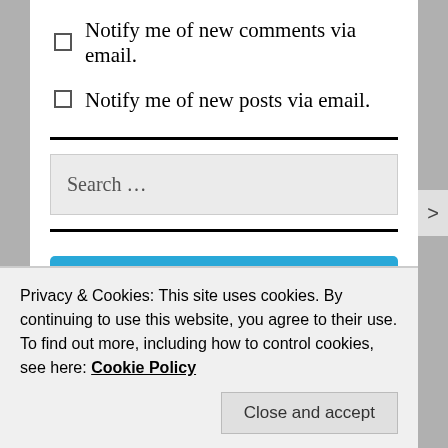Notify me of new comments via email.
Notify me of new posts via email.
Search ...
[Figure (other): Follow blog button: Follow Marriage With A Foreign Accent]
FOLLOW BLOG VIA EMAIL
Privacy & Cookies: This site uses cookies. By continuing to use this website, you agree to their use.
To find out more, including how to control cookies, see here: Cookie Policy
Close and accept